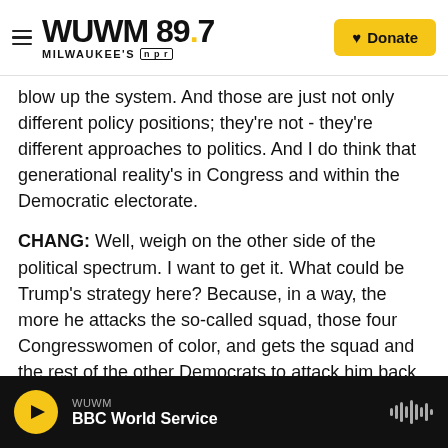WUWM 89.7 MILWAUKEE'S NPR | Donate
blow up the system. And those are just not only different policy positions; they're not - they're different approaches to politics. And I do think that generational reality's in Congress and within the Democratic electorate.
CHANG: Well, weigh on the other side of the political spectrum. I want to get it. What could be Trump's strategy here? Because, in a way, the more he attacks the so-called squad, those four Congresswomen of color, and gets the squad and the rest of the other Democrats to attack him back, the conversation is no longer about actual issues
WUWM BBC World Service